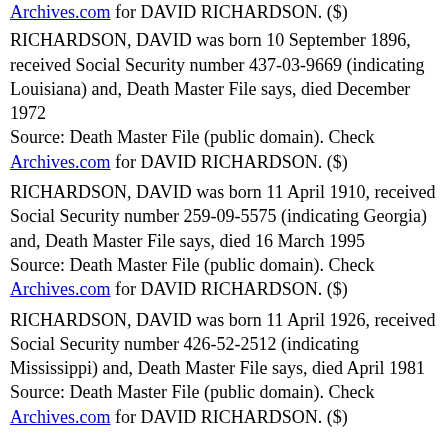Archives.com for DAVID RICHARDSON. ($)
RICHARDSON, DAVID was born 10 September 1896, received Social Security number 437-03-9669 (indicating Louisiana) and, Death Master File says, died December 1972
Source: Death Master File (public domain). Check Archives.com for DAVID RICHARDSON. ($)
RICHARDSON, DAVID was born 11 April 1910, received Social Security number 259-09-5575 (indicating Georgia) and, Death Master File says, died 16 March 1995
Source: Death Master File (public domain). Check Archives.com for DAVID RICHARDSON. ($)
RICHARDSON, DAVID was born 11 April 1926, received Social Security number 426-52-2512 (indicating Mississippi) and, Death Master File says, died April 1981
Source: Death Master File (public domain). Check Archives.com for DAVID RICHARDSON. ($)